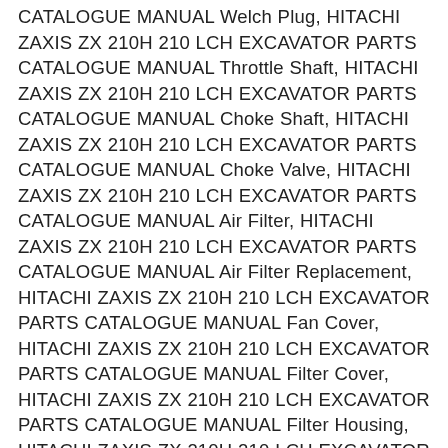CATALOGUE MANUAL Welch Plug, HITACHI ZAXIS ZX 210H 210 LCH EXCAVATOR PARTS CATALOGUE MANUAL Throttle Shaft, HITACHI ZAXIS ZX 210H 210 LCH EXCAVATOR PARTS CATALOGUE MANUAL Choke Shaft, HITACHI ZAXIS ZX 210H 210 LCH EXCAVATOR PARTS CATALOGUE MANUAL Choke Valve, HITACHI ZAXIS ZX 210H 210 LCH EXCAVATOR PARTS CATALOGUE MANUAL Air Filter, HITACHI ZAXIS ZX 210H 210 LCH EXCAVATOR PARTS CATALOGUE MANUAL Air Filter Replacement, HITACHI ZAXIS ZX 210H 210 LCH EXCAVATOR PARTS CATALOGUE MANUAL Fan Cover, HITACHI ZAXIS ZX 210H 210 LCH EXCAVATOR PARTS CATALOGUE MANUAL Filter Cover, HITACHI ZAXIS ZX 210H 210 LCH EXCAVATOR PARTS CATALOGUE MANUAL Filter Housing, HITACHI ZAXIS ZX 210H 210 LCH EXCAVATOR PARTS CATALOGUE MANUAL Sleeve, HITACHI ZAXIS ZX